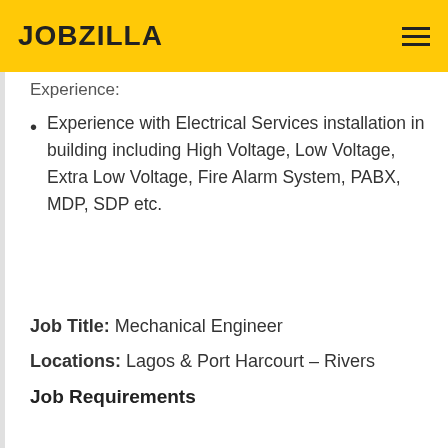JOBZILLA
Experience:
Experience with Electrical Services installation in building including High Voltage, Low Voltage, Extra Low Voltage, Fire Alarm System, PABX, MDP, SDP etc.
Job Title: Mechanical Engineer
Locations: Lagos & Port Harcourt - Rivers
Job Requirements